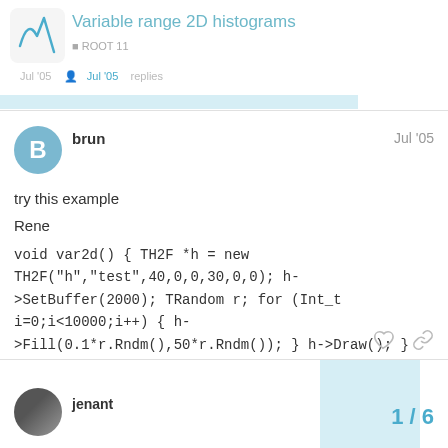Variable range 2D histograms
try this example
Rene
jenant
1 / 6